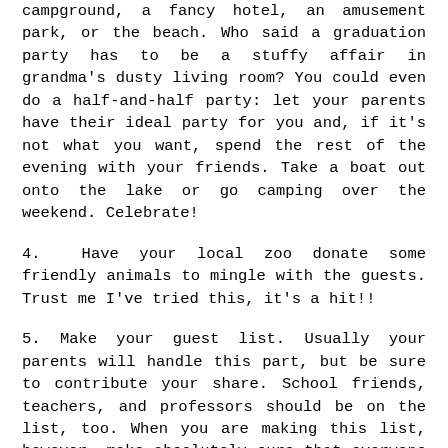campground, a fancy hotel, an amusement park, or the beach. Who said a graduation party has to be a stuffy affair in grandma's dusty living room? You could even do a half-and-half party: let your parents have their ideal party for you and, if it's not what you want, spend the rest of the evening with your friends. Take a boat out onto the lake or go camping over the weekend. Celebrate!
4.  Have your local zoo donate some friendly animals to mingle with the guests. Trust me I've tried this, it's a hit!!
5. Make your guest list. Usually your parents will handle this part, but be sure to contribute your share. School friends, teachers, and professors should be on the list, too. When you are making this list, however, make absolutely sure that everyone who is supposed to be graduating that year is actually graduating. This will save you a very awkward moment when you try and invite someone who, as it turns out, failed too many classes to pass.
6. Buy and send invitations. Your guests need the basic info in writing, of course. Many schools offer